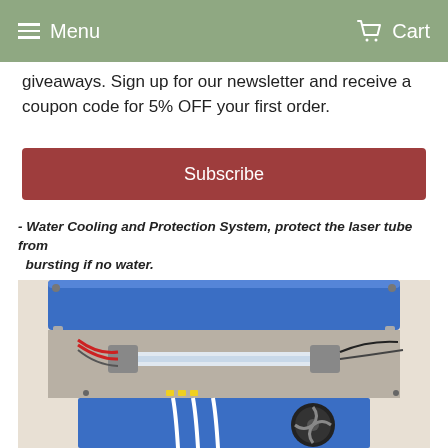Menu  Cart
giveaways. Sign up for our newsletter and receive a coupon code for 5% OFF your first order.
Subscribe
- Water Cooling and Protection System, protect the laser tube from bursting if no water.
- Embedded Exhaust Fan, Easier intall, Safer transport.
[Figure (photo): Rear view of a laser engraver machine with blue and white casing, open lid showing laser tube, wiring, and an embedded exhaust fan]